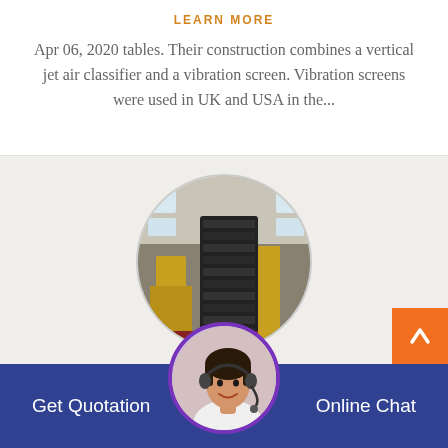LEARN MORE
Apr 06, 2020 tables. Their construction combines a vertical jet air classifier and a vibration screen. Vibration screens were used in UK and USA in the...
[Figure (photo): Circular cropped photo of a factory interior showing stacked black industrial components and yellow machinery]
[Figure (photo): Circular photo of a female customer service agent with headset, smiling]
Get Quotation
Online Chat